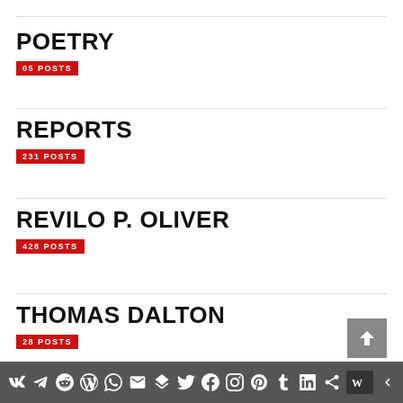POETRY
05 POSTS
REPORTS
231 POSTS
REVILO P. OLIVER
428 POSTS
THOMAS DALTON
28 POSTS
WILLIAM PIERCE